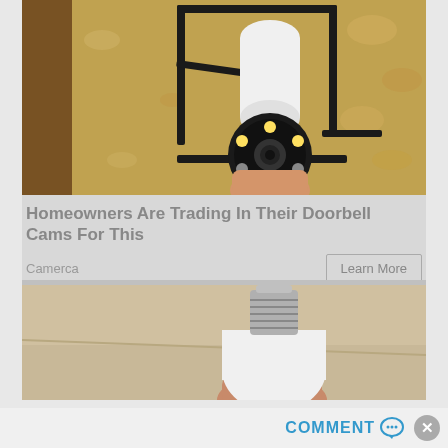[Figure (photo): A security camera with circular LED ring mounted on a black bracket attached to a textured stone/stucco wall. A hand is holding or installing the camera device.]
Homeowners Are Trading In Their Doorbell Cams For This
Camerca
[Figure (photo): A hand holding a white light bulb with silver screw base against a beige/cream ceiling background.]
COMMENT ✉ ✕